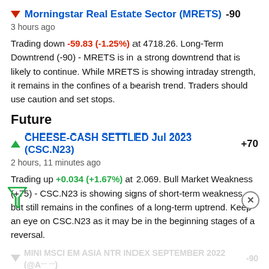Morningstar Real Estate Sector (MRETS) -90
3 hours ago
Trading down -59.83 (-1.25%) at 4718.26. Long-Term Downtrend (-90) - MRETS is in a strong downtrend that is likely to continue. While MRETS is showing intraday strength, it remains in the confines of a bearish trend. Traders should use caution and set stops.
Future
CHEESE-CASH SETTLED Jul 2023 (CSC.N23) +70
2 hours, 11 minutes ago
Trading up +0.034 (+1.67%) at 2.069. Bull Market Weakness (+75) - CSC.N23 is showing signs of short-term weakness, but still remains in the confines of a long-term uptrend. Keep an eye on CSC.N23 as it may be in the beginning stages of a reversal.
MINI MSCI EM ASIA NTR INDEX SEPTEMBER 2022 (@A... ...) -90
7 hours ago
Trading up +1.5 (+0.253) at 581.7. Long-Term Downtrend (-90)...